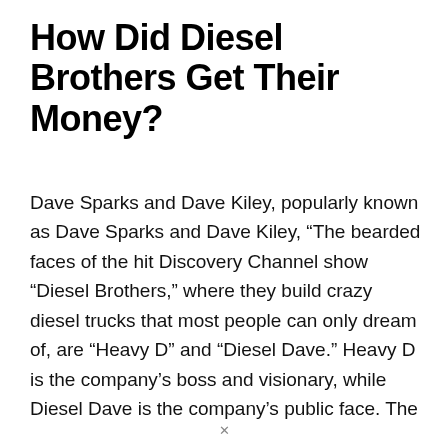How Did Diesel Brothers Get Their Money?
Dave Sparks and Dave Kiley, popularly known as Dave Sparks and Dave Kiley, “The bearded faces of the hit Discovery Channel show “Diesel Brothers,” where they build crazy diesel trucks that most people can only dream of, are “Heavy D” and “Diesel Dave.” Heavy D is the company’s boss and visionary, while Diesel Dave is the company’s public face. The Diesel Brothers, along with their equally bearded team, produce stunning high-end diesel trucks for clients as well as gifts to help drive customers to